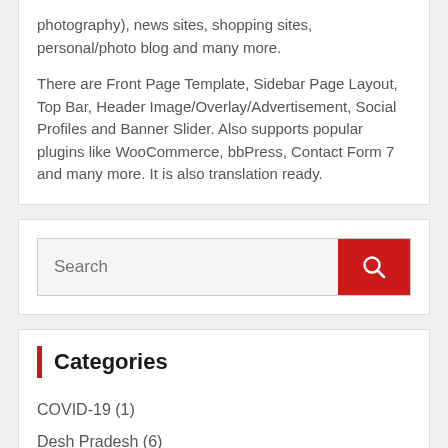photography), news sites, shopping sites, personal/photo blog and many more.
There are Front Page Template, Sidebar Page Layout, Top Bar, Header Image/Overlay/Advertisement, Social Profiles and Banner Slider. Also supports popular plugins like WooCommerce, bbPress, Contact Form 7 and many more. It is also translation ready.
[Figure (other): Search input box with red search button containing magnifying glass icon]
Categories
COVID-19 (1)
Desh Pradesh (6)
Entertainment (1)
Main Stories (3)